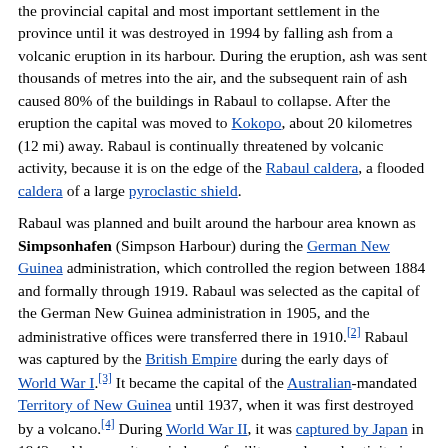the provincial capital and most important settlement in the province until it was destroyed in 1994 by falling ash from a volcanic eruption in its harbour. During the eruption, ash was sent thousands of metres into the air, and the subsequent rain of ash caused 80% of the buildings in Rabaul to collapse. After the eruption the capital was moved to Kokopo, about 20 kilometres (12 mi) away. Rabaul is continually threatened by volcanic activity, because it is on the edge of the Rabaul caldera, a flooded caldera of a large pyroclastic shield.
Rabaul was planned and built around the harbour area known as Simpsonhafen (Simpson Harbour) during the German New Guinea administration, which controlled the region between 1884 and formally through 1919. Rabaul was selected as the capital of the German New Guinea administration in 1905, and the administrative offices were transferred there in 1910.[2] Rabaul was captured by the British Empire during the early days of World War I.[3] It became the capital of the Australian-mandated Territory of New Guinea until 1937, when it was first destroyed by a volcano.[4] During World War II, it was captured by Japan in 1942 and became its main base of military and naval activity in the South Pacific. Settlements and military installations around the edge of the caldera are often collectively called Rabaul, although the old town of Rabaul was reduced to practical insignificance by the volcanic eruption in 1937.